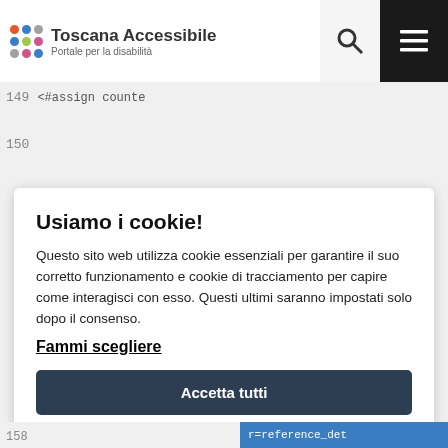Toscana Accessibile – Portale per la disabilità
149    <#assign counte
150
Usiamo i cookie!
Questo sito web utilizza cookie essenziali per garantire il suo corretto funzionamento e cookie di tracciamento per capire come interagisci con esso. Questi ultimi saranno impostati solo dopo il consenso.
Fammi scegliere
Accetta tutti
Rifiuta tutti
158